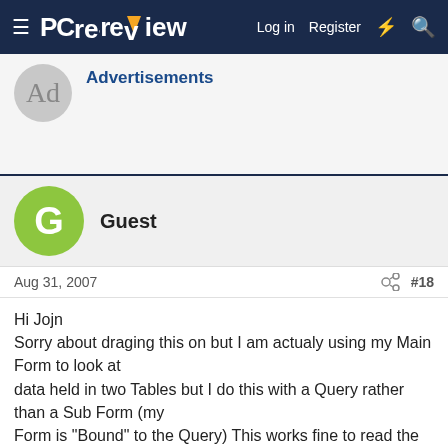PC review — Log in  Register
Advertisements
Guest
Aug 31, 2007  #18
Hi Jojn
Sorry about draging this on but I am actualy using my Main Form to look at
data held in two Tables but I do this with a Query rather than a Sub Form (my
Form is "Bound" to the Query) This works fine to read the records and it
should work with new save providing I write somthing else to